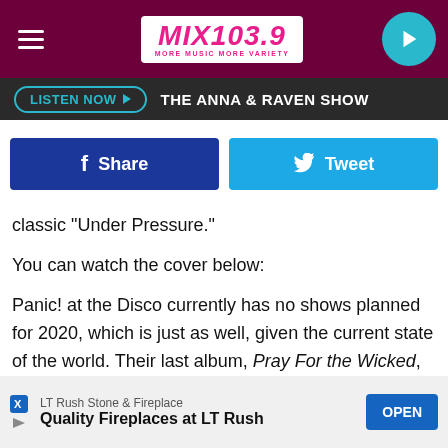[Figure (screenshot): MIX 103.9 MORE MUSIC MORE VARIETY radio station website header with dark red/maroon background, white logo box, hamburger menu, and teal play button]
LISTEN NOW ▶  THE ANNA & RAVEN SHOW
[Figure (infographic): Facebook Share button and Twitter Tweet button side by side]
classic "Under Pressure."
You can watch the cover below:
Panic! at the Disco currently has no shows planned for 2020, which is just as well, given the current state of the world. Their last album, Pray For the Wicked, dropped in 2018, topping the Billboard 200 and achieving impressive first-week sales of 180,000 units.
[Figure (screenshot): Advertisement banner: LT Rush Stone & Fireplace - Quality Fireplaces at LT Rush - OPEN button]